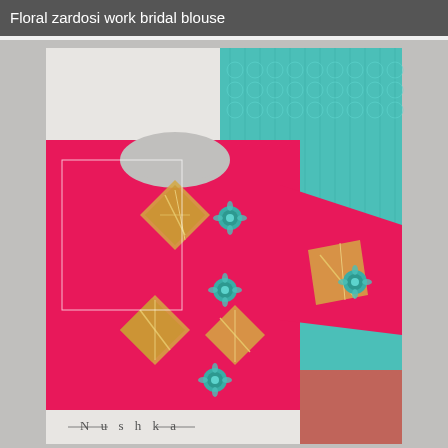Floral zardosi work bridal blouse
[Figure (photo): A hot pink bridal blouse with intricate gold zardosi embroidery work featuring diamond/chevron patterns and teal floral embellishments, displayed alongside a teal/turquoise silk saree with woven patterns and a coral red border. The blouse shows detailed craftsmanship with sequins and beadwork. A 'Nushka' brand watermark is visible at the bottom of the image.]